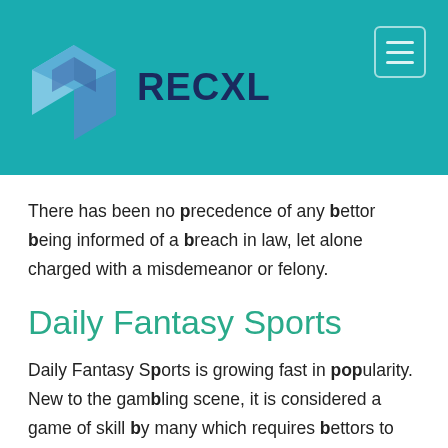RECXL
There has been no precedence of any bettor being informed of a breach in law, let alone charged with a misdemeanor or felony.
Daily Fantasy Sports
Daily Fantasy Sports is growing fast in popularity. New to the gambling scene, it is considered a game of skill by many which requires bettors to create a fictitious team based on real players. The performance of the real sports players in real life determine how successful the fictitious team is. As a result, it truly is those with the most